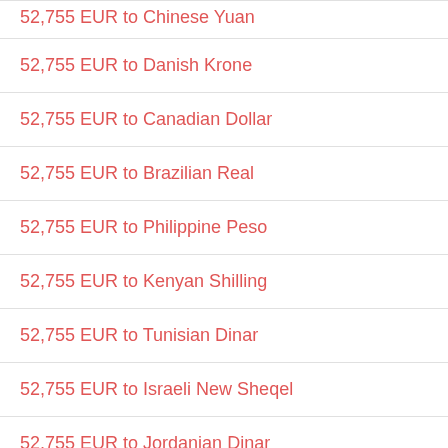52,755 EUR to Chinese Yuan
52,755 EUR to Danish Krone
52,755 EUR to Canadian Dollar
52,755 EUR to Brazilian Real
52,755 EUR to Philippine Peso
52,755 EUR to Kenyan Shilling
52,755 EUR to Tunisian Dinar
52,755 EUR to Israeli New Sheqel
52,755 EUR to Jordanian Dinar
52,755 EUR to Colombian Peso